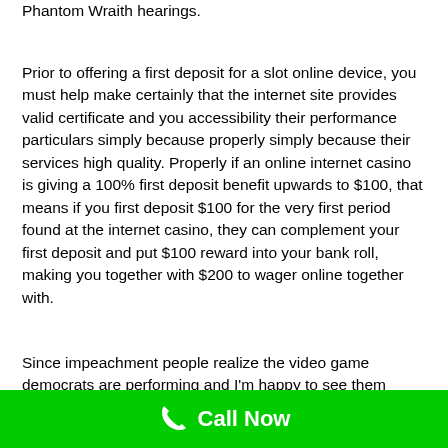Phantom Wraith hearings.
Prior to offering a first deposit for a slot online device, you must help make certainly that the internet site provides valid certificate and you accessibility their performance particulars simply because properly simply because their services high quality. Properly if an online internet casino is giving a 100% first deposit benefit upwards to $100, that means if you first deposit $100 for the very first period found at the internet casino, they can complement your first deposit and put $100 reward into your bank roll, making you together with $200 to wager online together with.
Since impeachment people realize the video game democrats are performing and I'm happy to see them double down on the blame Trump for everything method
Call Now